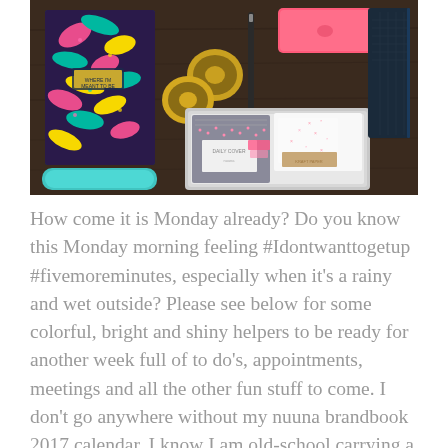[Figure (photo): Flat lay photo on a dark wooden desk showing colorful stationery items: a tropical-print notebook/planner, a teal pencil case, washi tape rolls, a pen, a pink wallet/pouch, a laptop, a grey patterned notebook, a card, pink and white patterned papers, and other stationery accessories.]
How come it is Monday already? Do you know this Monday morning feeling #Idontwanttogetup #fivemoreminutes, especially when it's a rainy and wet outside? Please see below for some colorful, bright and shiny helpers to be ready for another week full of to do's, appointments, meetings and all the other fun stuff to come. I don't go anywhere without my nuuna brandbook 2017 calendar. I know I am old-school carrying a physical calendar but it's so helpful and most of the time I don't forget what I wrote down once. Keeping it old school with my little leather pencil